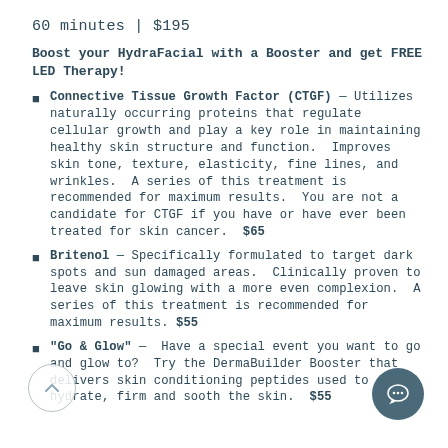60 minutes | $195
Boost your HydraFacial with a Booster and get FREE LED Therapy!
Connective Tissue Growth Factor (CTGF) — Utilizes naturally occurring proteins that regulate cellular growth and play a key role in maintaining healthy skin structure and function.  Improves skin tone, texture, elasticity, fine lines, and wrinkles.  A series of this treatment is recommended for maximum results.  You are not a candidate for CTGF if you have or have ever been treated for skin cancer.  $65
Britenol — Specifically formulated to target dark spots and sun damaged areas.  Clinically proven to leave skin glowing with a more even complexion.  A series of this treatment is recommended for maximum results. $55
"Go & Glow" —  Have a special event you want to go and glow to?  Try the DermaBuilder Booster that delivers skin conditioning peptides used to hydrate, firm and sooth the skin.  $55